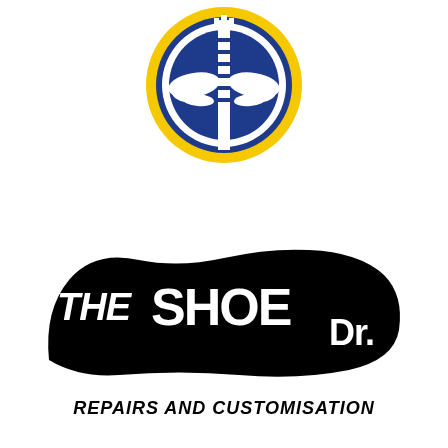[Figure (logo): Leeds United football club crest — circular badge with blue and white owl design, yellow outer ring, blue inner circle]
[Figure (logo): The Shoe Dr. logo — stylized black text in the shape of a shoe, bold retro lettering reading 'THE SHOE DR.']
REPAIRS AND CUSTOMISATION